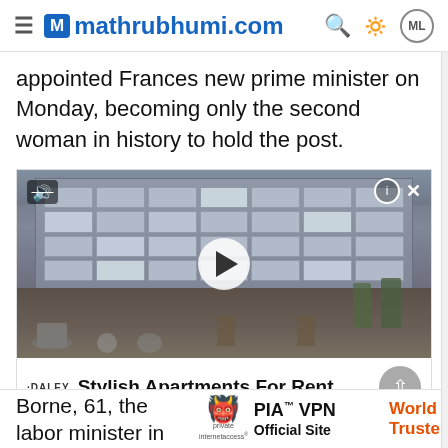mathrubhumi.com
appointed Frances new prime minister on Monday, becoming only the second woman in history to hold the post.
[Figure (screenshot): Video advertisement for The Daley at Shady Grove Metro Apartments showing a photograph of an apartment complex exterior with outdoor seating area and a play button overlay. Ad title: Stylish Apartments For Rent. Location: The Daley at Shady Grove Metro A., Rockville 10:00 – 17:00]
Borne, 61, the labor minister in